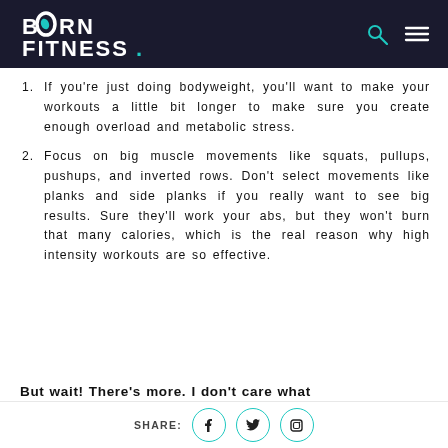BORN FITNESS
If you're just doing bodyweight, you'll want to make your workouts a little bit longer to make sure you create enough overload and metabolic stress.
Focus on big muscle movements like squats, pullups, pushups, and inverted rows. Don't select movements like planks and side planks if you really want to see big results. Sure they'll work your abs, but they won't burn that many calories, which is the real reason why high intensity workouts are so effective.
But wait! There's more. I don't care what
SHARE: